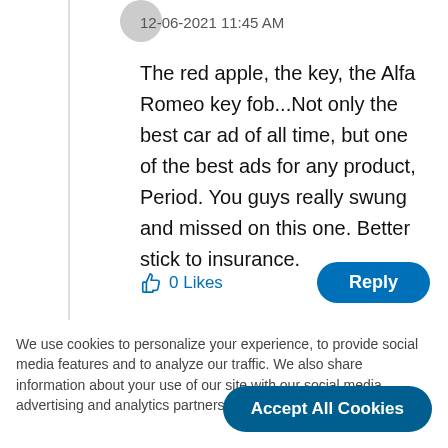12-06-2021 11:45 AM
The red apple, the key, the Alfa Romeo key fob...Not only the best car ad of all time, but one of the best ads for any product, Period. You guys really swung and missed on this one. Better stick to insurance.
0 Likes
Reply
We use cookies to personalize your experience, to provide social media features and to analyze our traffic. We also share information about your use of our site with our social media, advertising and analytics partners. Cookie Settings
Accept All Cookies